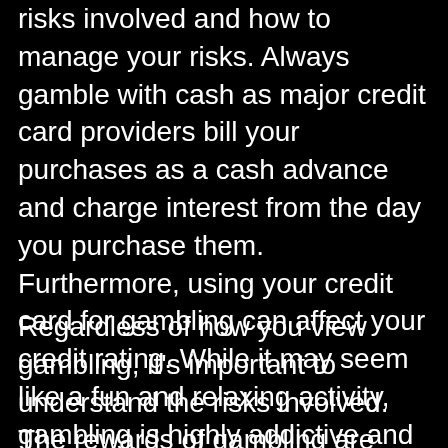risks involved and how to manage your risks. Always gamble with cash as major credit card providers bill your purchases as a cash advance and charge interest from the day you purchase them. Furthermore, using your credit card for gambling can affect your credit rating. While it may seem like a fun and relaxing activity, gambling is highly addictive and can affect your financial and emotional well-being. You may have a positive mindset but it's important to realize that you could be hurting your life if you can't control your impulses.
Regardless of how you view gambling, it's important to understand the risks involved. The rewards of gambling are generally limited to money. The risks involved are high,